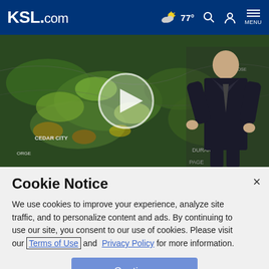KSL.com | 77° | Search | User | MENU
[Figure (screenshot): Weather map showing storm systems over the western US with a meteorologist standing in front of the map. A circular play button overlay is visible in the center.]
Cookie Notice
We use cookies to improve your experience, analyze site traffic, and to personalize content and ads. By continuing to use our site, you consent to our use of cookies. Please visit our Terms of Use and Privacy Policy for more information.
Continue